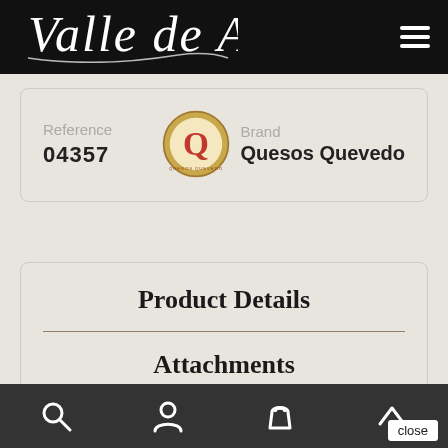Valle de Aras
| Reference | Brand |
| --- | --- |
| 04357 | Quesos Quevedo |
Product Details
Attachments
close